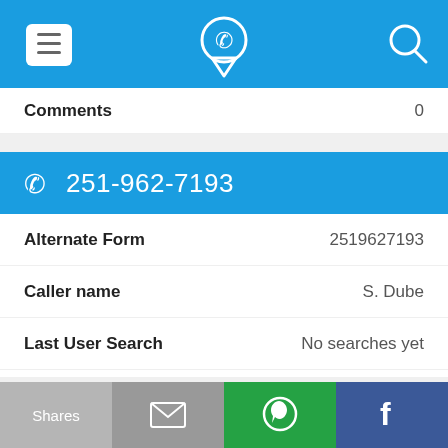[Figure (screenshot): Top navigation bar with menu icon (hamburger), phone locator logo, and search icon on blue background]
Comments    0
[Figure (screenshot): Blue header bar with phone icon and number 251-962-7193]
Alternate Form    2519627193
Caller name    S. Dube
Last User Search    No searches yet
Comments    0
[Figure (screenshot): Partial blue header bar showing phone icon and partial number 251-962-7424]
Shares    [email icon]    [WhatsApp icon]    [Facebook icon]